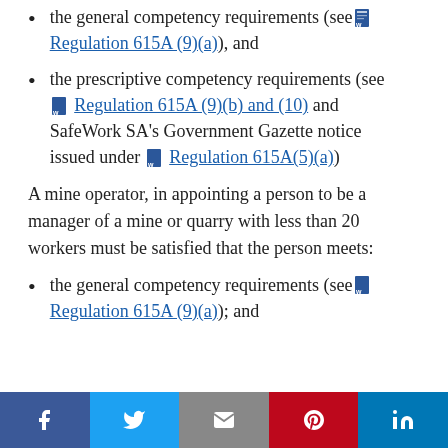the general competency requirements (see Regulation 615A (9)(a)), and
the prescriptive competency requirements (see Regulation 615A (9)(b) and (10) and SafeWork SA's Government Gazette notice issued under Regulation 615A(5)(a))
A mine operator, in appointing a person to be a manager of a mine or quarry with less than 20 workers must be satisfied that the person meets:
the general competency requirements (see Regulation 615A (9)(a)); and
Social share bar: Facebook, Twitter, Email, Pinterest, LinkedIn